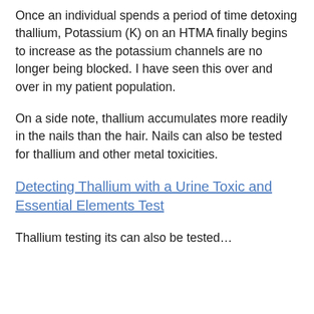Once an individual spends a period of time detoxing thallium, Potassium (K) on an HTMA finally begins to increase as the potassium channels are no longer being blocked. I have seen this over and over in my patient population.
On a side note, thallium accumulates more readily in the nails than the hair. Nails can also be tested for thallium and other metal toxicities.
Detecting Thallium with a Urine Toxic and Essential Elements Test
Thallium testing can...